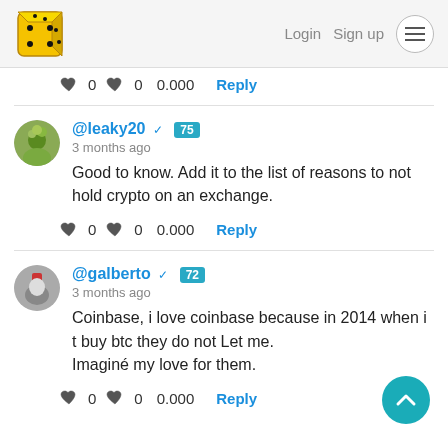Login  Sign up
♥ 0  ♥ 0  0.000  Reply
@leaky20 ✓ 75
3 months ago
Good to know. Add it to the list of reasons to not hold crypto on an exchange.
♥ 0  ♥ 0  0.000  Reply
@galberto ✓ 72
3 months ago
Coinbase, i love coinbase because in 2014 when i t buy btc they do not Let me.
Imaginé my love for them.
♥ 0  ♥ 0  0.000  Reply